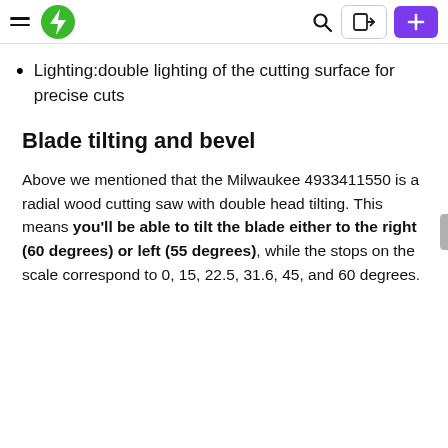Navigation bar with hamburger menu, green lightning bolt logo, search icon, login button, and plus button
Lighting:double lighting of the cutting surface for precise cuts
Blade tilting and bevel
Above we mentioned that the Milwaukee 4933411550 is a radial wood cutting saw with double head tilting. This means you'll be able to tilt the blade either to the right (60 degrees) or left (55 degrees), while the stops on the scale correspond to 0, 15, 22.5, 31.6, 45, and 60 degrees.